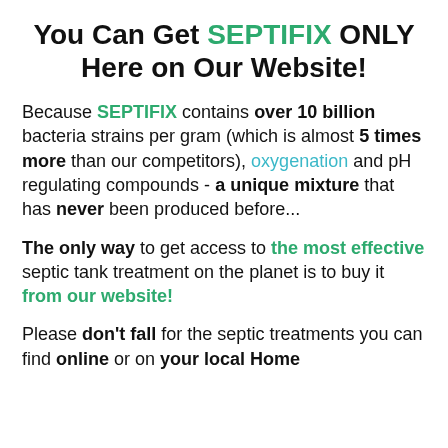You Can Get SEPTIFIX ONLY Here on Our Website!
Because SEPTIFIX contains over 10 billion bacteria strains per gram (which is almost 5 times more than our competitors), oxygenation and pH regulating compounds - a unique mixture that has never been produced before...
The only way to get access to the most effective septic tank treatment on the planet is to buy it from our website!
Please don't fall for the septic treatments you can find online or on your local Home